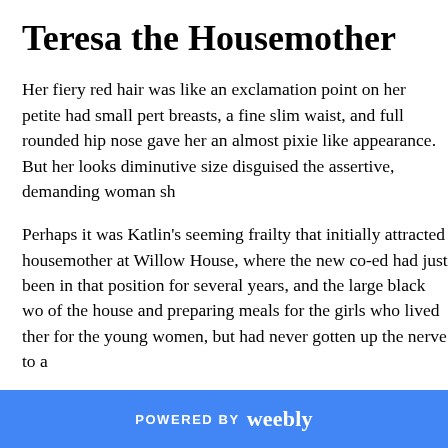Teresa the Housemother
Her fiery red hair was like an exclamation point on her petite had small pert breasts, a fine slim waist, and full rounded hip nose gave her an almost pixie like appearance. But her looks diminutive size disguised the assertive, demanding woman sh
Perhaps it was Katlin's seeming frailty that initially attracted housemother at Willow House, where the new co-ed had just been in that position for several years, and the large black wo of the house and preparing meals for the girls who lived ther for the young women, but had never gotten up the nerve to a
POWERED BY weebly